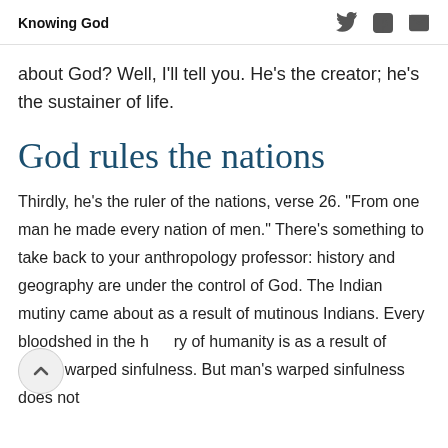Knowing God
about God? Well, I'll tell you. He's the creator; he's the sustainer of life.
God rules the nations
Thirdly, he's the ruler of the nations, verse 26. “From one man he made every nation of men.” There’s something to take back to your anthropology professor: history and geography are under the control of God. The Indian mutiny came about as a result of mutinous Indians. Every bloodshed in the history of humanity is as a result of man’s warped sinfulness. But man’s warped sinfulness does not